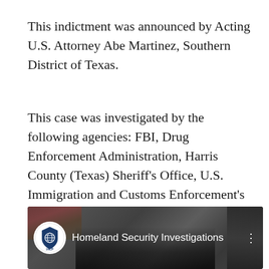This indictment was announced by Acting U.S. Attorney Abe Martinez, Southern District of Texas.
This case was investigated by the following agencies: FBI, Drug Enforcement Administration, Harris County (Texas) Sheriff's Office, U.S. Immigration and Customs Enforcement's (ICE) Homeland Security Investigations (HSI), ICE Enforcement Removal Operations (ERO), and Houston Police Department's Texas Anti-Gang Center.
[Figure (screenshot): Video thumbnail showing a Homeland Security Investigations YouTube or video embed, with IACP logo circle on the left, channel name 'Homeland Security Investigations' in white text, and a three-dot menu icon on the right. Background shows blurred scene with dark silhouettes and foliage.]